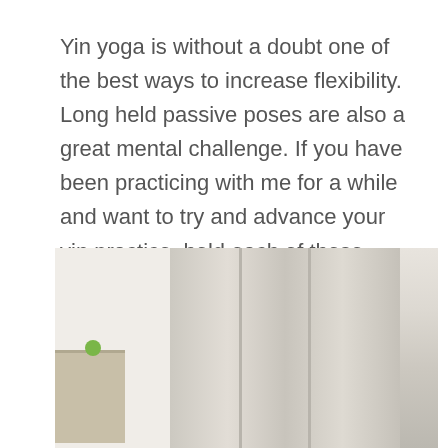Yin yoga is without a doubt one of the best ways to increase flexibility. Long held passive poses are also a great mental challenge. If you have been practicing with me for a while and want to try and advance your yin practice, hold each of these poses for about 8...
[Figure (photo): A yoga studio or room interior showing beige/taupe curtains hanging against a light wall, a small side table with items on the lower left, and a person partially visible at the bottom center.]